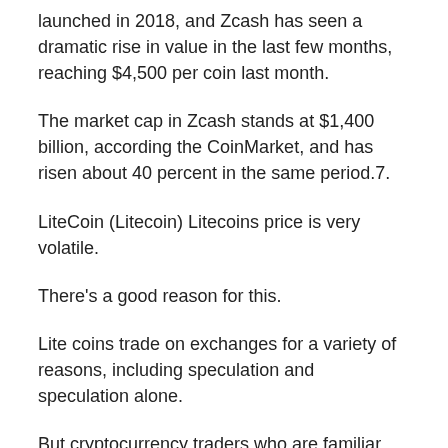launched in 2018, and Zcash has seen a dramatic rise in value in the last few months, reaching $4,500 per coin last month.
The market cap in Zcash stands at $1,400 billion, according the CoinMarket, and has risen about 40 percent in the same period.7.
LiteCoin (Litecoin) Litecoins price is very volatile.
There's a good reason for this.
Lite coins trade on exchanges for a variety of reasons, including speculation and speculation alone.
But cryptocurrency traders who are familiar with the cryptocurrency market will know that the volatility of the cryptocurrency markets can also make it difficult to trade or understand a cryptocurrency.
The volatility in the Litecoin market is also the reason why it is